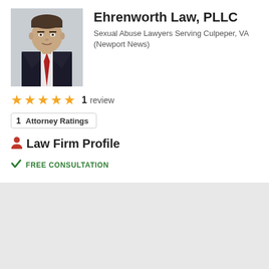[Figure (photo): Professional headshot of a male lawyer in dark suit with red tie, against white background]
Ehrenworth Law, PLLC
Sexual Abuse Lawyers Serving Culpeper, VA (Newport News)
★★★★★  1  review
1  Attorney Ratings
Law Firm Profile
FREE CONSULTATION
Nearby Cities: Warrenton, Spotsylvania, Luray, Dumfries, Fredericksburg
Related Practice Areas: Sex Crime, Assault & Battery (Plaintiff), Domestic Violence, Personal Injury